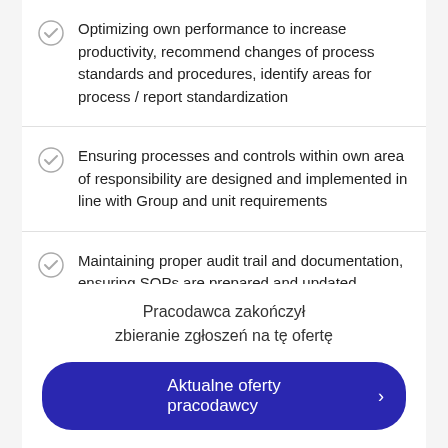Optimizing own performance to increase productivity, recommend changes of process standards and procedures, identify areas for process / report standardization
Ensuring processes and controls within own area of responsibility are designed and implemented in line with Group and unit requirements
Maintaining proper audit trail and documentation, ensuring SOPs are prepared and updated, ensuring service delivery within...
Pracodawca zakończył zbieranie zgłoszeń na tę ofertę
Aktualne oferty pracodawcy